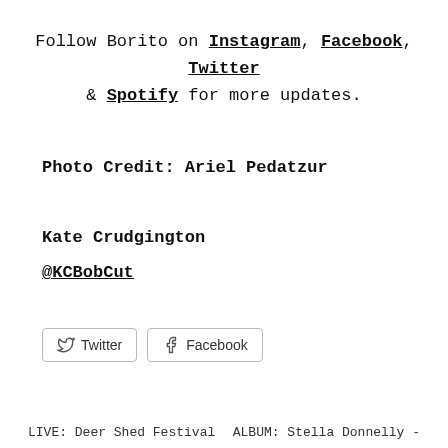Follow Borito on Instagram, Facebook, Twitter & Spotify for more updates.
Photo Credit: Ariel Pedatzur
Kate Crudgington
@KCBobCut
[Figure (other): Twitter and Facebook share/follow buttons]
LIVE: Deer Shed Festival      ALBUM: Stella Donnelly -